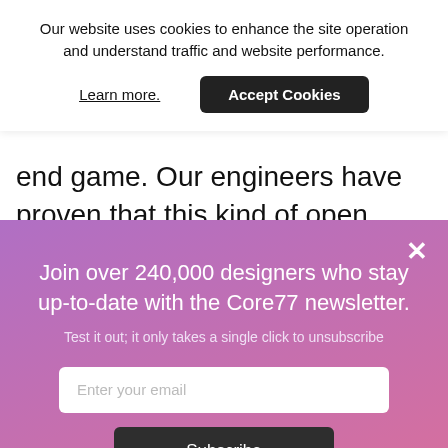Our website uses cookies to enhance the site operation and understand traffic and website performance.
Learn more.
Accept Cookies
end game. Our engineers have proven that this kind of open collaboration will accelerate
×
Join over 240,000 designers who stay up-to-date with the Core77 newsletter.
Test it out; it only takes a single click to unsubscribe
Enter your email
Subscribe